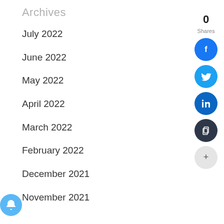Archives
July 2022
June 2022
May 2022
April 2022
March 2022
February 2022
December 2021
November 2021
[Figure (infographic): Social share widget on the right side showing 0 Shares with Facebook (blue circle), Twitter (light blue circle), LinkedIn (dark blue circle), Copy (dark/charcoal circle), and More (+) (light grey circle) buttons. A notification bell icon (light blue circle) appears at the bottom left.]